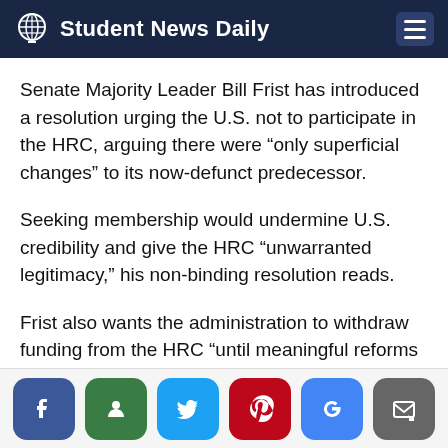Student News Daily
Senate Majority Leader Bill Frist has introduced a resolution urging the U.S. not to participate in the HRC, arguing there were “only superficial changes” to its now-defunct predecessor.
Seeking membership would undermine U.S. credibility and give the HRC “unwarranted legitimacy,” his non-binding resolution reads.
Frist also wants the administration to withdraw funding from the HRC “until meaningful reforms are undertaken.” He says the U.S. should, together with like-minded democracies, establish an effective